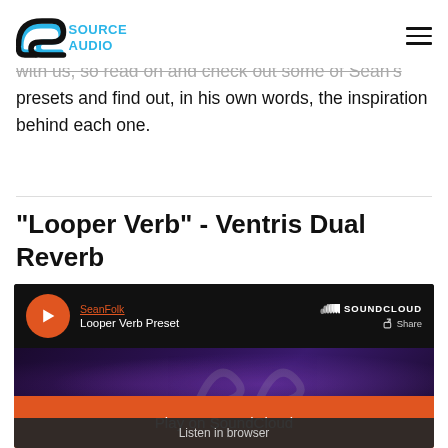Source Audio logo and navigation menu
with us, so read on and check out some of Sean's presets and find out, in his own words, the inspiration behind each one.
"Looper Verb" - Ventris Dual Reverb
[Figure (screenshot): SoundCloud embedded player showing 'Looper Verb Preset' by SeanFolk, with a Play on SoundCloud orange button and a Listen in browser option.]